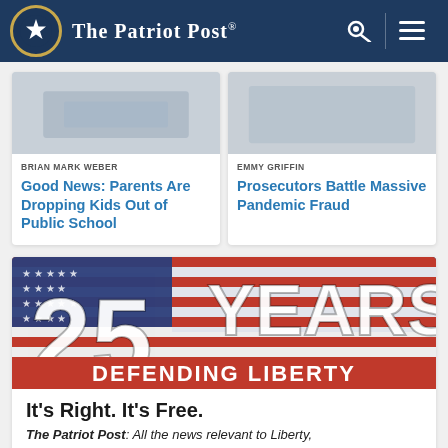The Patriot Post
BRIAN MARK WEBER
Good News: Parents Are Dropping Kids Out of Public School
EMMY GRIFFIN
Prosecutors Battle Massive Pandemic Fraud
[Figure (illustration): 25 Years Defending Liberty banner with American flag background]
It's Right. It's Free.
The Patriot Post: All the news relevant to Liberty,